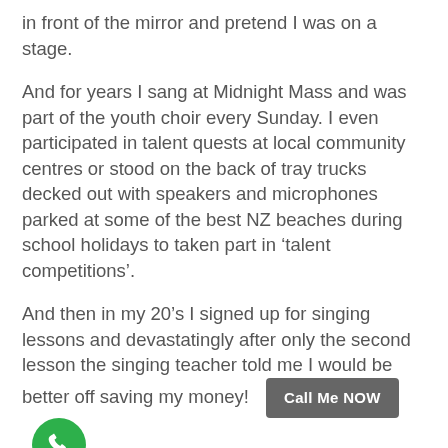in front of the mirror and pretend I was on a stage.
And for years I sang at Midnight Mass and was part of the youth choir every Sunday. I even participated in talent quests at local community centres or stood on the back of tray trucks decked out with speakers and microphones parked at some of the best NZ beaches during school holidays to taken part in ‘talent competitions’.
And then in my 20’s I signed up for singing lessons and devastatingly after only the second lesson the singing teacher told me I would be better off saving my money!
I was devastated.